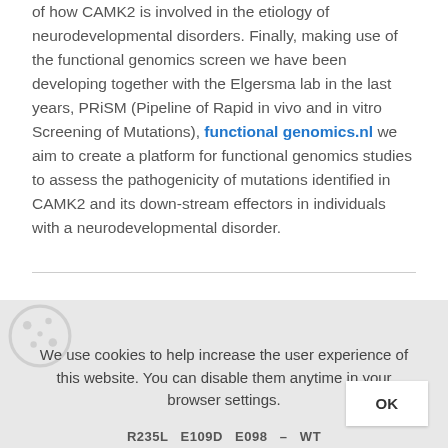of how CAMK2 is involved in the etiology of neurodevelopmental disorders. Finally, making use of the functional genomics screen we have been developing together with the Elgersma lab in the last years, PRiSM (Pipeline of Rapid in vivo and in vitro Screening of Mutations), functional genomics.nl we aim to create a platform for functional genomics studies to assess the pathogenicity of mutations identified in CAMK2 and its down-stream effectors in individuals with a neurodevelopmental disorder.
We use cookies to help increase the user experience of this website. You can disable them anytime in your browser settings.
R235L E109D E098 WT